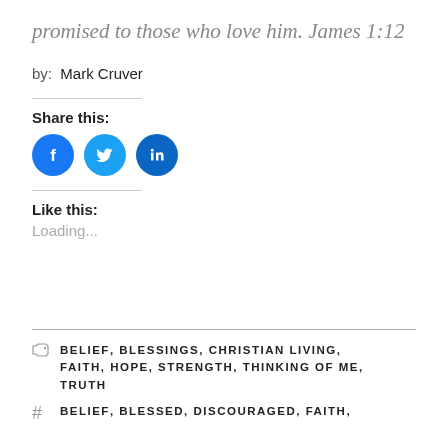promised to those who love him.  James 1:12
by:  Mark Cruver
Share this:
[Figure (illustration): Three social media icon buttons: Facebook (blue circle with 'f' icon), Twitter (light blue circle with bird icon), LinkedIn (dark blue circle with 'in' icon)]
Like this:
Loading...
BELIEF, BLESSINGS, CHRISTIAN LIVING, FAITH, HOPE, STRENGTH, THINKING OF ME, TRUTH
BELIEF, BLESSED, DISCOURAGED, FAITH,